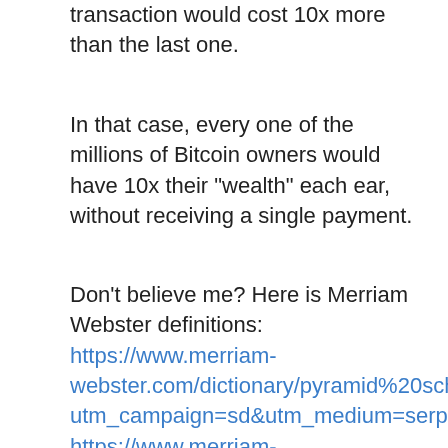transaction would cost 10x more than the last one.
In that case, every one of the millions of Bitcoin owners would have 10x their "wealth" each ear, without receiving a single payment.
Don't believe me? Here is Merriam Webster definitions: https://www.merriam-webster.com/dictionary/pyramid%20scheme?utm_campaign=sd&utm_medium=serp&utm_source=jsonld https://www.merriam-webster.com/dictionary/Ponzi%20scheme